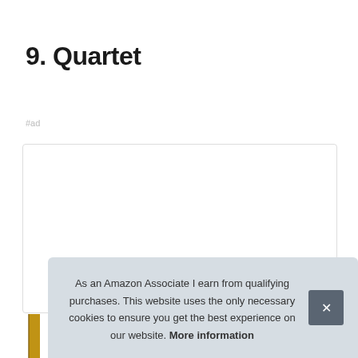9. Quartet
#ad
[Figure (other): Advertisement box placeholder with white background and light border]
As an Amazon Associate I earn from qualifying purchases. This website uses the only necessary cookies to ensure you get the best experience on our website. More information